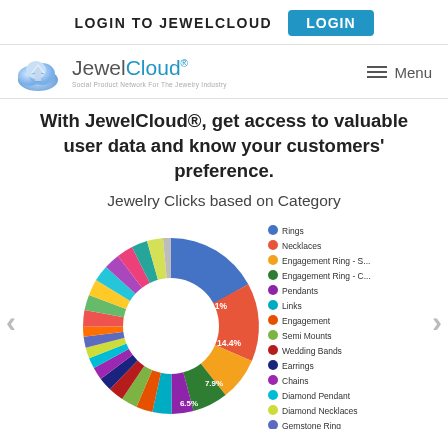LOGIN TO JEWELCLOUD   LOGIN
[Figure (logo): JewelCloud logo with blue cloud icon and text 'JewelCloud - Social Product Network For The Jewelry Industry']
With JewelCloud®, get access to valuable user data and know your customers' preference.
Jewelry Clicks based on Category
[Figure (donut-chart): Donut chart showing jewelry clicks by category. Visible slices: Rings 17.1% (blue), Necklaces 14.4% (red/orange), then smaller slices for engagement rings ~7.9% and ~6.5%, and many more small multicolored slices. Legend on right side lists 15 categories.]